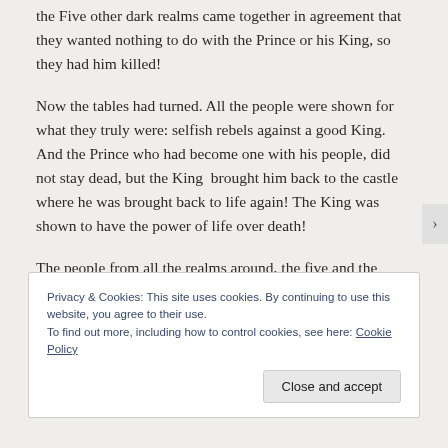the Five other dark realms came together in agreement that they wanted nothing to do with the Prince or his King, so they had him killed!
Now the tables had turned. All the people were shown for what they truly were: selfish rebels against a good King.  And the Prince who had become one with his people, did not stay dead, but the King  brought him back to the castle where he was brought back to life again! The King was shown to have the power of life over death!
The people from all the realms around, the five and the
Privacy & Cookies: This site uses cookies. By continuing to use this website, you agree to their use.
To find out more, including how to control cookies, see here: Cookie Policy
Close and accept